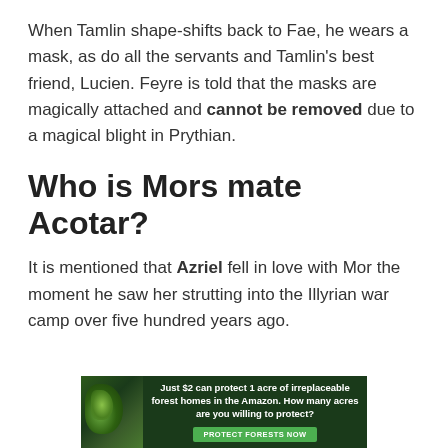When Tamlin shape-shifts back to Fae, he wears a mask, as do all the servants and Tamlin's best friend, Lucien. Feyre is told that the masks are magically attached and cannot be removed due to a magical blight in Prythian.
Who is Mors mate Acotar?
It is mentioned that Azriel fell in love with Mor the moment he saw her strutting into the Illyrian war camp over five hundred years ago.
[Figure (infographic): Advertisement banner with forest background image on left and text: 'Just $2 can protect 1 acre of irreplaceable forest homes in the Amazon. How many acres are you willing to protect?' with a green 'PROTECT FORESTS NOW' button.]